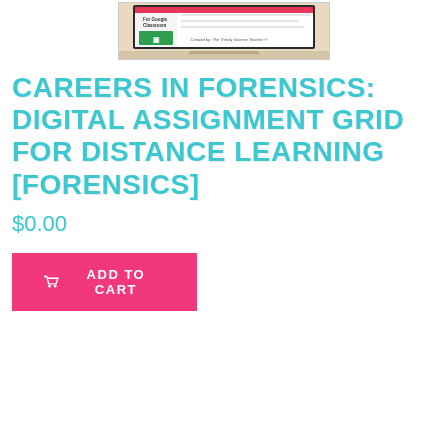[Figure (screenshot): Product thumbnail image showing a laptop with 'For Google Classroom' label and 'Created by: The Trendy Science Teacher' text on screen]
CAREERS IN FORENSICS: DIGITAL ASSIGNMENT GRID FOR DISTANCE LEARNING [FORENSICS]
$0.00
ADD TO CART